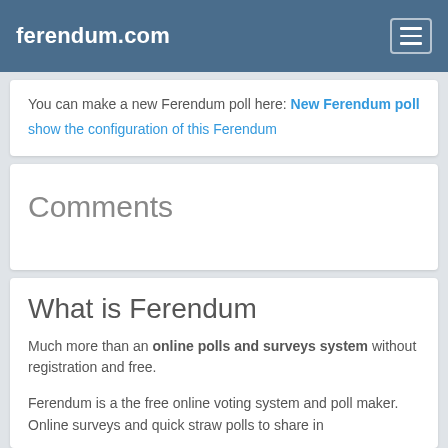ferendum.com
You can make a new Ferendum poll here: New Ferendum poll
show the configuration of this Ferendum
Comments
What is Ferendum
Much more than an online polls and surveys system without registration and free.

Ferendum is a the free online voting system and poll maker. Online surveys and quick straw polls to share in